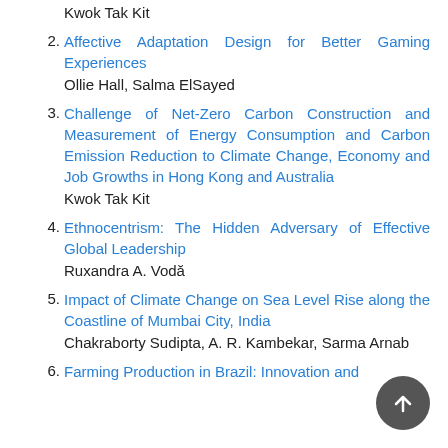Kwok Tak Kit
2. Affective Adaptation Design for Better Gaming Experiences
Ollie Hall, Salma ElSayed
3. Challenge of Net-Zero Carbon Construction and Measurement of Energy Consumption and Carbon Emission Reduction to Climate Change, Economy and Job Growths in Hong Kong and Australia
Kwok Tak Kit
4. Ethnocentrism: The Hidden Adversary of Effective Global Leadership
Ruxandra A. Vodă
5. Impact of Climate Change on Sea Level Rise along the Coastline of Mumbai City, India
Chakraborty Sudipta, A. R. Kambekar, Sarma Arnab
6. Farming Production in Brazil: Innovation and